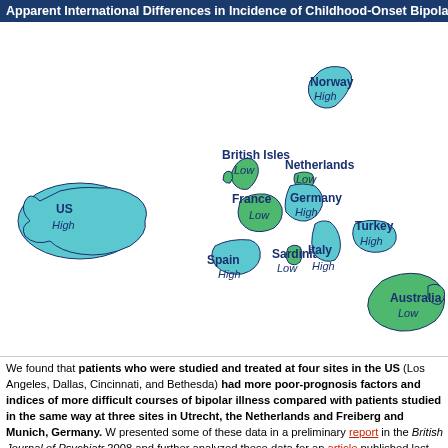Apparent International Differences in Incidence of Childhood-Onset Bipolar Dis...
[Figure (map): World map showing apparent international differences in childhood-onset bipolar disorder incidence. Countries colored cyan (High) or green (Low). US=High, Norway=High, British Isles=Low, Netherlands=Low, France=Low, Germany=High, Spain=High, Sardinia=Low, Italy=High, Turkey=High, Australia=Low.]
We found that patients who were studied and treated at four sites in the US (Los Angeles, Dallas, Cincinnati, and Bethesda) had more poor-prognosis factors and indices of more difficult courses of bipolar illness compared with patients studied in the same way at three sites in Utrecht, the Netherlands and Freiberg and Munich, Germany. We presented some of these data in a preliminary report in the British Journal of Psychiatry in 2008 and further analyzed these data for an article published last year in the Journal of Clinical Psychiatry.